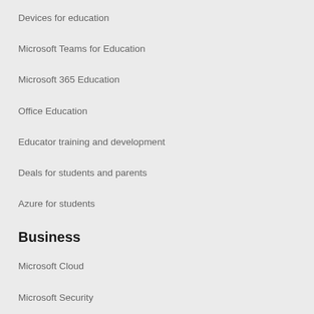Devices for education
Microsoft Teams for Education
Microsoft 365 Education
Office Education
Educator training and development
Deals for students and parents
Azure for students
Business
Microsoft Cloud
Microsoft Security
Azure
Dynamics 365
Microsoft 365